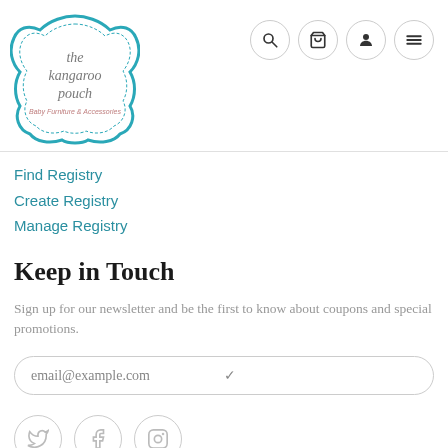[Figure (logo): The Kangaroo Pouch logo — decorative frame with text 'the kangaroo pouch' and subtitle 'Baby Furniture & Accessories' in teal/blue]
[Figure (infographic): Navigation icon buttons: search, cart, user, hamburger menu — four circles with icons]
Find Registry
Create Registry
Manage Registry
Keep in Touch
Sign up for our newsletter and be the first to know about coupons and special promotions.
email@example.com
[Figure (infographic): Social media icons: Twitter bird, Facebook f, Instagram camera — three circles]